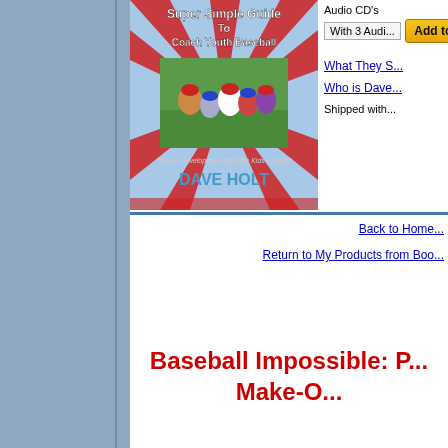[Figure (illustration): Book cover for 'Super Simple Guide To Coach Youth Baseball' by Dave Holt, showing youth baseball players huddled together, with red and blue starburst design. Subtitle: 'Player Development With the Kids in Mind']
Audio CD's
With 3 Audi...
Add to C...
What They S...
Who is Dave...
Shipped with...
Back to Home...
Return to My Products from Boo...
Baseball Impossible: P... Make-O...